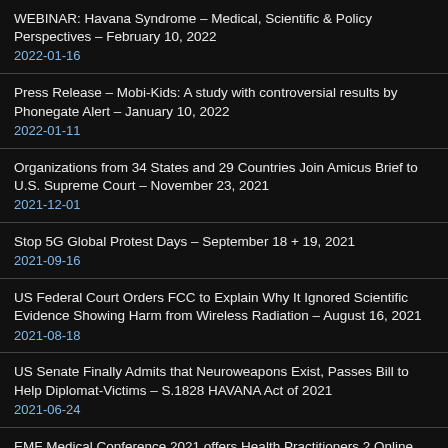WEBINAR: Havana Syndrome – Medical, Scientific & Policy Perspectives – February 10, 2022
2022-01-16
Press Release – Mobi-Kids: A study with controversial results by Phonegate Alert – January 10, 2022
2022-01-11
Organizations from 34 States and 29 Countries Join Amicus Brief to U.S. Supreme Court – November 23, 2021
2021-12-01
Stop 5G Global Protest Days – September 18 + 19, 2021
2021-09-16
US Federal Court Orders FCC to Explain Why It Ignored Scientific Evidence Showing Harm from Wireless Radiation – August 16, 2021
2021-08-18
US Senate Finally Admits that Neuroweapons Exist, Passes Bill to Help Diplomat-Victims – S.1828 HAVANA Act of 2021
2021-06-24
EMF Medical Conference 2021 offers Health Practitioners 2 Online Continuing Medical Education C...